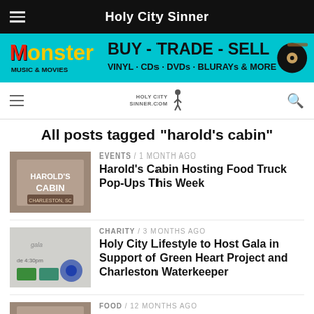Holy City Sinner
[Figure (other): Monster Music & Movies advertisement banner: BUY - TRADE - SELL, VINYL · CDs · DVDs · BLURAYs & MORE]
Holy City Sinner (secondary navigation bar with logo and search icon)
All posts tagged "harold's cabin"
[Figure (photo): Harold's Cabin interior/logo thumbnail image]
EVENTS / 1 month ago
Harold's Cabin Hosting Food Truck Pop-Ups This Week
[Figure (photo): Holy City Lifestyle Gala thumbnail image]
CHARITY / 3 months ago
Holy City Lifestyle to Host Gala in Support of Green Heart Project and Charleston Waterkeeper
[Figure (photo): Harold's Cabin reopens thumbnail image]
FOOD / 12 months ago
Harold's Cabin Reopens Thursday